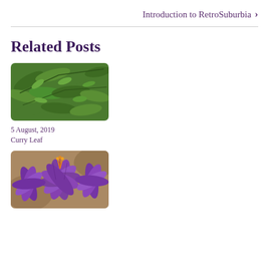Introduction to RetroSuburbia >
Related Posts
[Figure (photo): Close-up photo of green curry leaf plant foliage with feathery compound leaves]
5 August, 2019
Curry Leaf
[Figure (photo): Close-up photo of purple saffron crocus flowers with orange stamens]